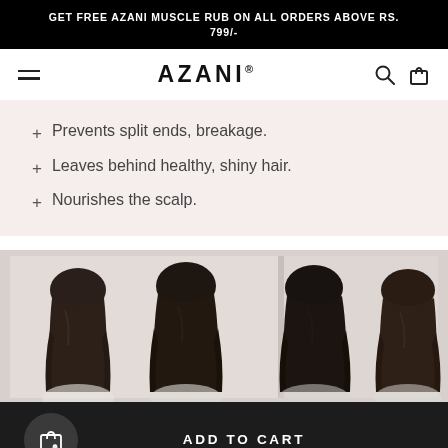GET FREE AZANI MUSCLE RUB ON ALL ORDERS ABOVE RS. 799/-
AZANI®
+ Prevents split ends, breakage.
+ Leaves behind healthy, shiny hair.
+ Nourishes the scalp.
[Figure (photo): Four women shown from behind with long straight dark hair, before and after comparison]
ADD TO CART